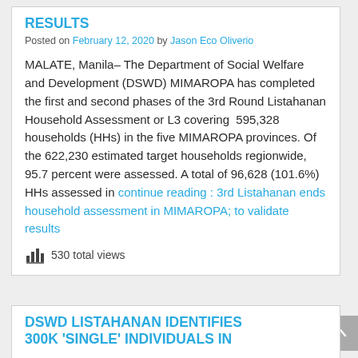RESULTS
Posted on February 12, 2020 by Jason Eco Oliverio
MALATE, Manila– The Department of Social Welfare and Development (DSWD) MIMAROPA has completed the first and second phases of the 3rd Round Listahanan Household Assessment or L3 covering  595,328 households (HHs) in the five MIMAROPA provinces. Of the 622,230 estimated target households regionwide, 95.7 percent were assessed. A total of 96,628 (101.6%) HHs assessed in continue reading : 3rd Listahanan ends household assessment in MIMAROPA; to validate results
530 total views
DSWD LISTAHANAN IDENTIFIES 300K 'SINGLE' INDIVIDUALS IN